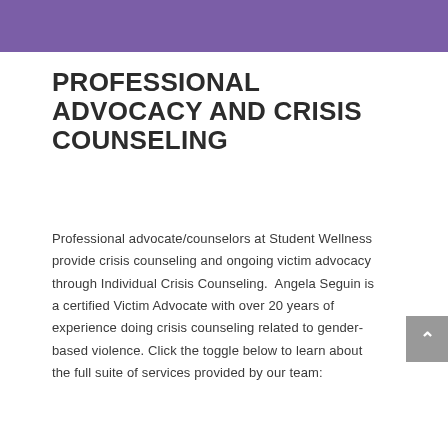[Figure (other): Purple banner at top of page]
PROFESSIONAL ADVOCACY AND CRISIS COUNSELING
Professional advocate/counselors at Student Wellness provide crisis counseling and ongoing victim advocacy through Individual Crisis Counseling.  Angela Seguin is a certified Victim Advocate with over 20 years of experience doing crisis counseling related to gender-based violence. Click the toggle below to learn about the full suite of services provided by our team: